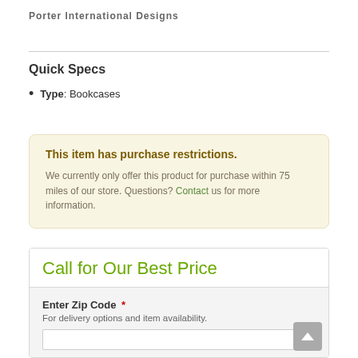Porter International Designs
Quick Specs
Type: Bookcases
This item has purchase restrictions. We currently only offer this product for purchase within 75 miles of our store. Questions? Contact us for more information.
Call for Our Best Price
Enter Zip Code * For delivery options and item availability.